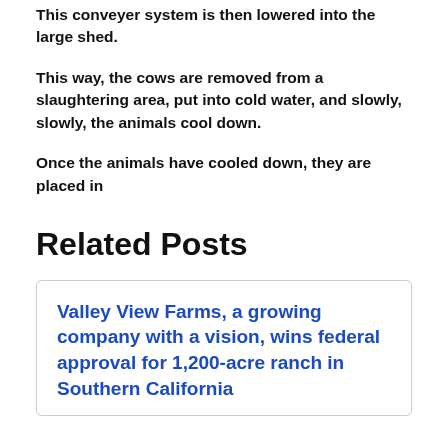This conveyer system is then lowered into the large shed.
This way, the cows are removed from a slaughtering area, put into cold water, and slowly, slowly, the animals cool down.
Once the animals have cooled down, they are placed in
Related Posts
Valley View Farms, a growing company with a vision, wins federal approval for 1,200-acre ranch in Southern California